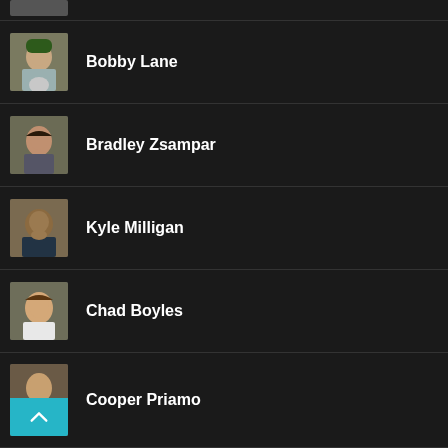(partial top person)
Bobby Lane
Bradley Zsampar
Kyle Milligan
Chad Boyles
Cooper Priamo
David Reams (partial)